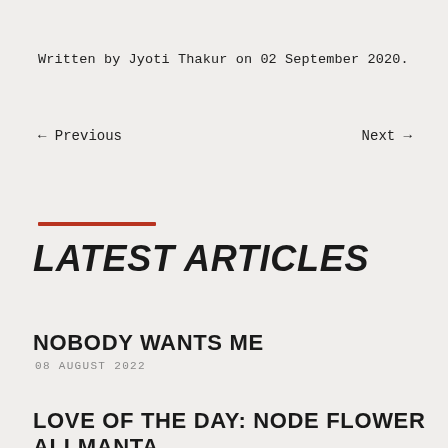Written by Jyoti Thakur on 02 September 2020.
← Previous
Next →
LATEST ARTICLES
NOBODY WANTS ME
08 AUGUST 2022
LOVE OF THE DAY: NODE FLOWER ALLMANTA